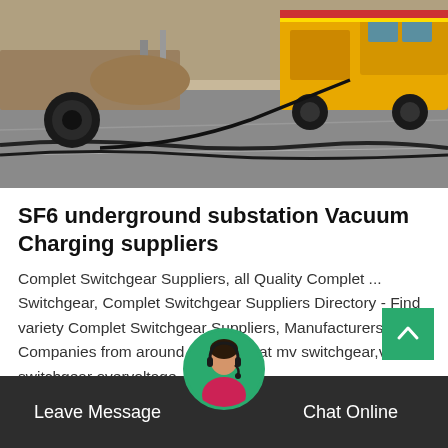[Figure (photo): Outdoor construction site with yellow utility truck/vehicle and cable reels on paved ground, dirt and tracks visible in background]
SF6 underground substation Vacuum Charging suppliers
Complet Switchgear Suppliers, all Quality Complet ... Switchgear, Complet Switchgear Suppliers Directory - Find variety Complet Switchgear Suppliers, Manufacturers, Companies from around the World at mv switchgear,voltage switchgear overvoltage…
Get Price
Leave Message   Chat Online